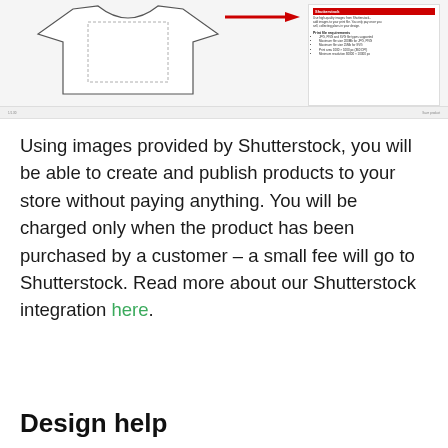[Figure (screenshot): Screenshot of a print-on-demand product editor showing a t-shirt outline with a dotted print area, a red arrow pointing to a panel on the right with print file requirements, and a toolbar at the bottom.]
Using images provided by Shutterstock, you will be able to create and publish products to your store without paying anything. You will be charged only when the product has been purchased by a customer – a small fee will go to Shutterstock. Read more about our Shutterstock integration here.
Design help